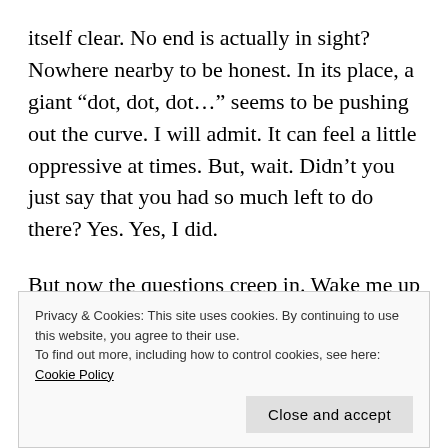itself clear. No end is actually in sight? Nowhere nearby to be honest. In its place, a giant “dot, dot, dot…” seems to be pushing out the curve. I will admit. It can feel a little oppressive at times. But, wait. Didn’t you just say that you had so much left to do there? Yes. Yes, I did.
But now the questions creep in. Wake me up at night. Cause me to pause. Can we stay. Yes. Do we stay. I don’t know. Do we want to stay. Some of us do. Some days. Do we want to repatriate? Right now? I will admit
Privacy & Cookies: This site uses cookies. By continuing to use this website, you agree to their use.
To find out more, including how to control cookies, see here: Cookie Policy